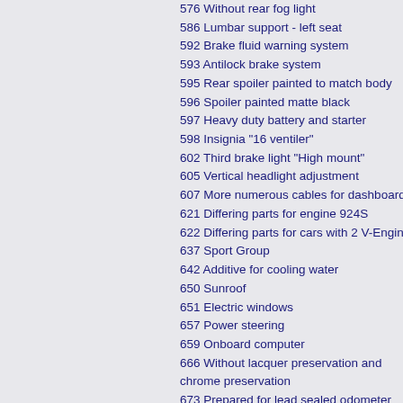576 Without rear fog light
586 Lumbar support - left seat
592 Brake fluid warning system
593 Antilock brake system
595 Rear spoiler painted to match body
596 Spoiler painted matte black
597 Heavy duty battery and starter
598 Insignia "16 ventiler"
602 Third brake light "High mount"
605 Vertical headlight adjustment
607 More numerous cables for dashboard
621 Differing parts for engine 924S
622 Differing parts for cars with 2 V-Engine
637 Sport Group
642 Additive for cooling water
650 Sunroof
651 Electric windows
657 Power steering
659 Onboard computer
666 Without lacquer preservation and chrome preservation
673 Prepared for lead sealed odometer
675 Instrument cluster - technical lighting
684 1 piece rear seat
685 Divided rear seat
686 Radio "Ludwigsburg" SQM with arimat
691 CD-Player "CD-1" with Radio
692 Remote CD changer (6-disc)
701 Servotronic Short No...